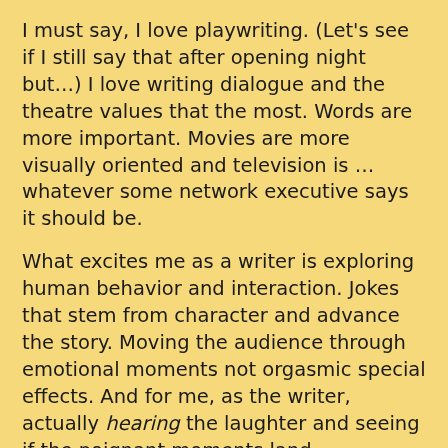I must say, I love playwriting. (Let's see if I still say that after opening night but…) I love writing dialogue and the theatre values that the most. Words are more important. Movies are more visually oriented and television is … whatever some network executive says it should be.
What excites me as a writer is exploring human behavior and interaction. Jokes that stem from character and advance the story. Moving the audience through emotional moments not orgasmic special effects. And for me, as the writer, actually hearing the laughter and seeing if the poignant moments land.
Other reasons why I prefer to write for the stage:
I enjoy the freedom in storytelling. With features and certainly television, you need to outline the story in a very detailed fashion. In television you're always confined by the clock. Movie outlines can be so extensive that storyboards are drawn to show shot-by-shot. I work off a much simpler outline when writing plays. I know where I'm going (generally) but allow the characters to tell me where they